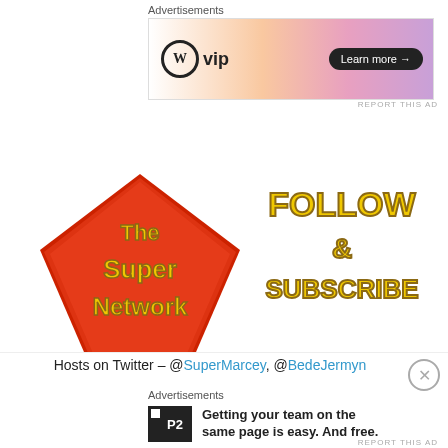Advertisements
[Figure (other): WordPress VIP advertisement banner with gradient background and Learn more button]
[Figure (logo): The Super Network logo — red diamond/shield shape with yellow outlined text reading The Super Network]
[Figure (other): Yellow outlined text reading FOLLOW & SUBSCRIBE]
Subscribe to us at Patreon
The Super Network on Twitter – @SM_SuperNetwork
Hosts on Twitter – @SuperMarcey, @BedeJermyn
Advertisements — Getting your team on the same page is easy. And free.